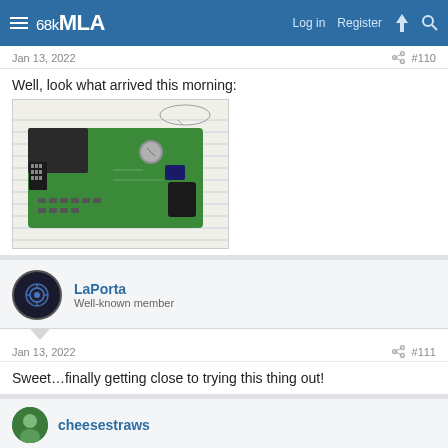68kMLA  Log in  Register
Jan 13, 2022  #110
Well, look what arrived this morning:
[Figure (photo): A green PCB circuit board with components including a connector, capacitors, and various SMD components, placed on a lined notebook paper.]
LaPorta
Well-known member
Jan 13, 2022  #111
Sweet…finally getting close to trying this thing out!
cheesestraws